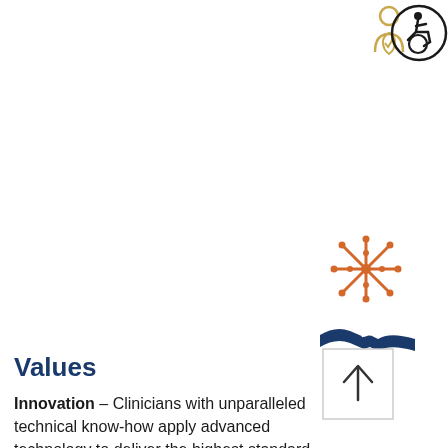[Figure (illustration): Yellow/gold outlined icon of a person with a shield/checkmark, representing patient protection or care]
[Figure (illustration): Black circle with white wheelchair accessibility symbol icon]
[Figure (illustration): Orange decorative snowflake or cross pattern icon]
[Figure (illustration): Dark navy blue handshake icon representing partnership or collaboration]
[Figure (illustration): Small white box with a dark upward arrow]
Values
Innovation – Clinicians with unparalleled technical know-how apply advanced technology to deliver the highest standard of hearing health care